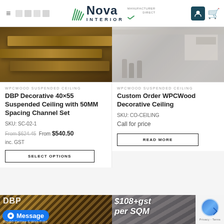Nova Interior — Manufacturer Direct
[Figure (photo): Photo of wooden WPC suspended ceiling bars in brown/tan finish]
[Figure (photo): Photo of showroom interior with WPCWood decorative ceiling display]
WPCWOOD SUSPENDED CEILING
DBP Decorative 40×55 Suspended Ceiling with 50MM Spacing Channel Set
SKU: SC-02-1
From $624.45  From $540.50 inc. GST
SELECT OPTIONS
WPCWOOD SUSPENDED CEILING
Custom Order WPCWood Decorative Ceiling
SKU: CO-CEILING
Call for price
READ MORE
[Figure (photo): Bottom left preview: striped WPC ceiling, DBP label, Message button overlay]
[Figure (photo): Bottom right preview: ceiling installation photo with $108+gst per SQM overlay and reCAPTCHA widget]